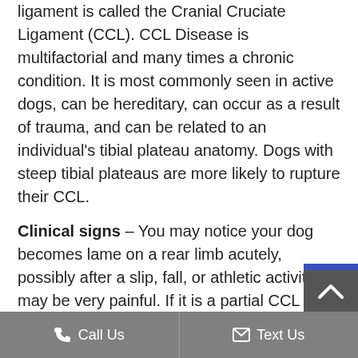ligament is called the Cranial Cruciate Ligament (CCL). CCL Disease is multifactorial and many times a chronic condition. It is most commonly seen in active dogs, can be hereditary, can occur as a result of trauma, and can be related to an individual's tibial plateau anatomy. Dogs with steep tibial plateaus are more likely to rupture their CCL.
Clinical signs – You may notice your dog becomes lame on a rear limb acutely, possibly after a slip, fall, or athletic activity. It may be very painful. If it is a partial CCL tear, your pet may partially weight bearing a
Call Us   Text Us